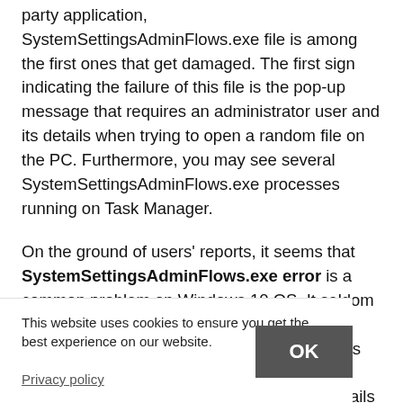party application, SystemSettingsAdminFlows.exe file is among the first ones that get damaged. The first sign indicating the failure of this file is the pop-up message that requires an administrator user and its details when trying to open a random file on the PC. Furthermore, you may see several SystemSettingsAdminFlows.exe processes running on Task Manager.
On the ground of users' reports, it seems that SystemSettingsAdminFlows.exe error is a common problem on Windows 10 OS. It seldom or never occurs on Windows 7, 8, 8.1, XP, or Vista versions. Even not all Windows 10 types can be affected. It appears that SystemSettingsAdminFlows.exe bug prevails on ... if you are ... that urges you to ... can't open files
This website uses cookies to ensure you get the best experience on our website.

Privacy policy
OK